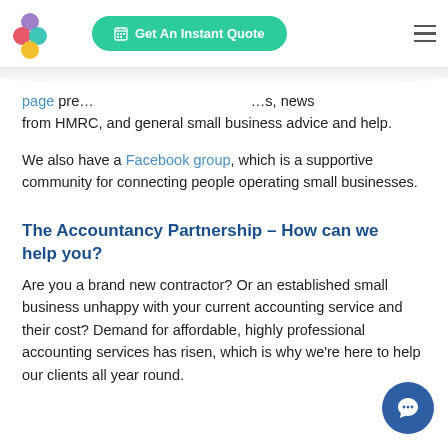Get An Instant Quote
page pre…  …s, news from HMRC, and general small business advice and help.
We also have a Facebook group, which is a supportive community for connecting people operating small businesses.
The Accountancy Partnership – How can we help you?
Are you a brand new contractor? Or an established small business unhappy with your current accounting service and their cost? Demand for affordable, highly professional accounting services has risen, which is why we're here to help our clients all year round.